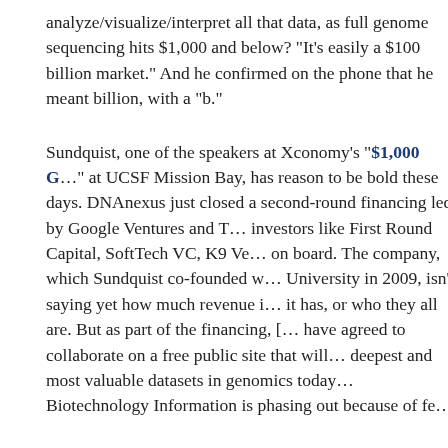analyze/visualize/interpret all that data, as full genome sequencing hits $1,000 and below? "It's easily a $100 billion market." And he confirmed on the phone that he meant billion, with a "b."
Sundquist, one of the speakers at Xconomy's "$1,000 G..." at UCSF Mission Bay, has reason to be bold these days. DNAnexus just closed a second-round financing led by Google Ventures and T... investors like First Round Capital, SoftTech VC, K9 Ventures, and others on board. The company, which Sundquist co-founded with... University in 2009, isn't saying yet how much revenue it has, or how many customers it has, or who they all are. But as part of the financing, [major institutions] have agreed to collaborate on a free public site that will host one of the deepest and most valuable datasets in genomics today... Biotechnology Information is phasing out because of fe...